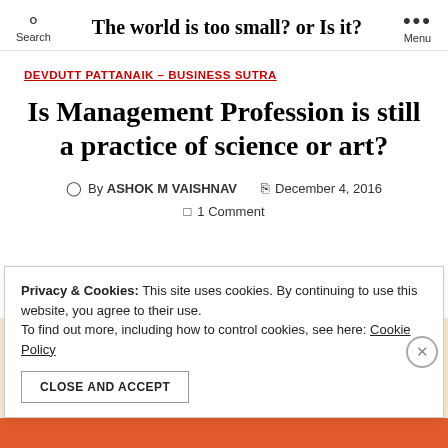The world is too small? or Is it?
DEVDUTT PATTANAIK - BUSINESS SUTRA
Is Management Profession is still a practice of science or art?
By ASHOK M VAISHNAV  December 4, 2016  1 Comment
Privacy & Cookies: This site uses cookies. By continuing to use this website, you agree to their use. To find out more, including how to control cookies, see here: Cookie Policy
CLOSE AND ACCEPT